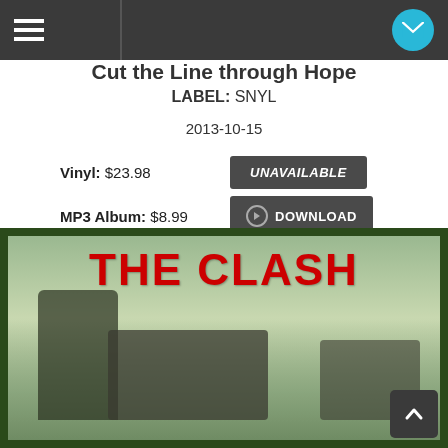Navigation bar with hamburger menu and mail button
Cut the Line through Hope (partially visible)
LABEL: SNYL
2013-10-15
Vinyl: $23.98  UNAVAILABLE
MP3 Album: $8.99  DOWNLOAD
[Figure (photo): The Clash album cover art with red text 'THE CLASH' on a green-tinted background showing a person with boomboxes]